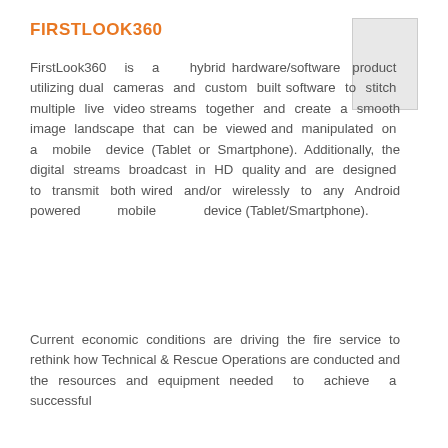FIRSTLOOK360
[Figure (photo): Small rectangular image placeholder in upper right corner]
FirstLook360 is a hybrid hardware/software product utilizing dual cameras and custom built software to stitch multiple live video streams together and create a smooth image landscape that can be viewed and manipulated on a mobile device (Tablet or Smartphone). Additionally, the digital streams broadcast in HD quality and are designed to transmit both wired and/or wirelessly to any Android powered mobile device (Tablet/Smartphone).
Current economic conditions are driving the fire service to rethink how Technical & Rescue Operations are conducted and the resources and equipment needed to achieve a successful